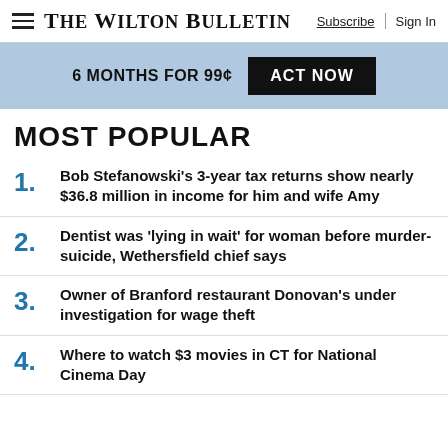The Wilton Bulletin | Subscribe | Sign In
6 MONTHS FOR 99¢  ACT NOW
MOST POPULAR
1. Bob Stefanowski's 3-year tax returns show nearly $36.8 million in income for him and wife Amy
2. Dentist was 'lying in wait' for woman before murder-suicide, Wethersfield chief says
3. Owner of Branford restaurant Donovan's under investigation for wage theft
4. Where to watch $3 movies in CT for National Cinema Day